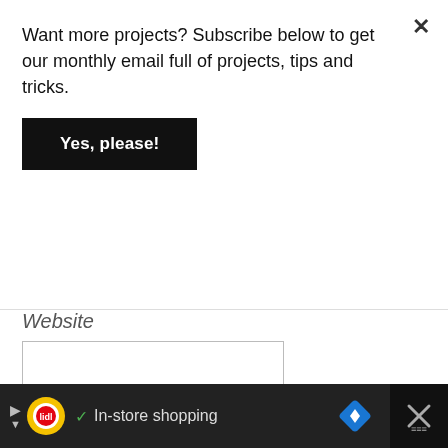Want more projects? Subscribe below to get our monthly email full of projects, tips and tricks.
Yes, please!
Website
Notify me via e-mail if anyone answers my comment.
POST COMMENT
[Figure (screenshot): Advertisement bar at the bottom showing Lidl logo, In-store shopping text, navigation icons, and a close button on dark background]